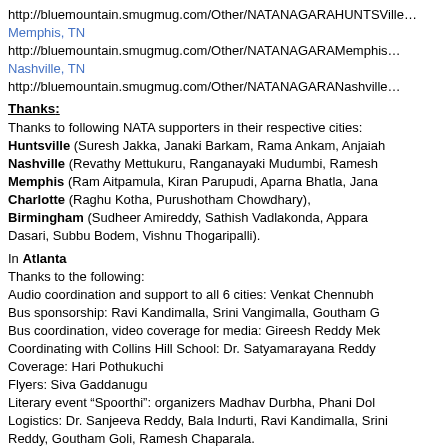http://bluemountain.smugmug.com/Other/NATANAGARAHUNTSVille...
Memphis, TN
http://bluemountain.smugmug.com/Other/NATANAGARAMemphis...
Nashville, TN
http://bluemountain.smugmug.com/Other/NATANAGARANashville...
Thanks:
Thanks to following NATA supporters in their respective cities:
Huntsville (Suresh Jakka, Janaki Barkam, Rama Ankam, Anjaiah...
Nashville (Revathy Mettukuru, Ranganayaki Mudumbi, Ramesh...
Memphis (Ram Aitpamula, Kiran Parupudi, Aparna Bhatla, Jana...
Charlotte (Raghu Kotha, Purushotham Chowdhary),
Birmingham (Sudheer Amireddy, Sathish Vadlakonda, Apparao...
Dasari, Subbu Bodem, Vishnu Thogaripalli).
In Atlanta
Thanks to the following:
Audio coordination and support to all 6 cities: Venkat Chennubh...
Bus sponsorship: Ravi Kandimalla, Srini Vangimalla, Goutham G...
Bus coordination, video coverage for media: Gireesh Reddy Mek...
Coordinating with Collins Hill School: Dr. Satyamarayana Reddy...
Coverage: Hari Pothukuchi
Flyers: Siva Gaddanugu
Literary event “Spoorthi”: organizers Madhav Durbha, Phani Dol...
Logistics: Dr. Sanjeeva Reddy, Bala Indurti, Ravi Kandimalla, Srini...
Reddy, Goutham Goli, Ramesh Chaparala.
Lunches and dinners for Chandra Bose and Mallikharjun: Bala In...
Jhadav, Jagadeesh Cheemarla, Gireesh Meka, Venkat Mondeddu...
Vangimalla